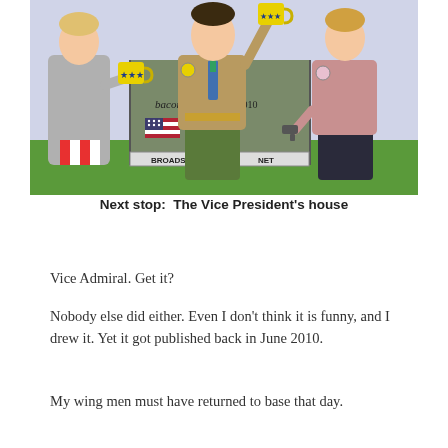[Figure (illustration): A cartoon showing three figures at a doorstep. A person in a bathrobe on the left holds a yellow mug with stars. A tall figure in the center wearing a tan jacket, blue tie, and green skirt holds up a yellow mug labeled with stars. A third figure in a pink top and dark skirt stands on the right. In the background are green bushes and a sign reading 'BROADSIDE NET'. Text on background reads 'bacon' and '©2010'.]
Next stop:  The Vice President's house
Vice Admiral. Get it?
Nobody else did either. Even I don't think it is funny, and I drew it. Yet it got published back in June 2010.
My wing men must have returned to base that day.